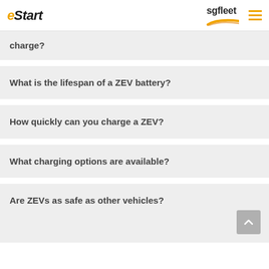eStart | sgfleet
charge?
What is the lifespan of a ZEV battery?
How quickly can you charge a ZEV?
What charging options are available?
Are ZEVs as safe as other vehicles?